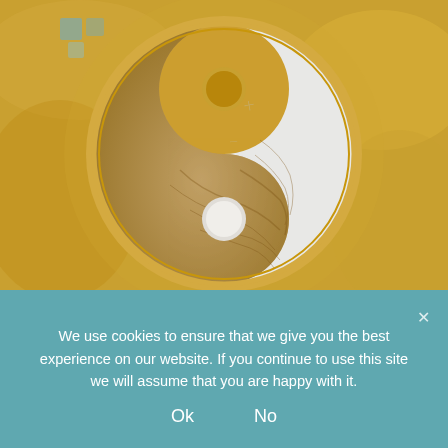[Figure (illustration): A painting of a yin-yang symbol with golden/amber tones and white, set against a golden brushstroke background. The white half is smooth marble-like, the dark half has textured earthy brown patterns. Each half has a contrasting circular dot.]
We use cookies to ensure that we give you the best experience on our website. If you continue to use this site we will assume that you are happy with it.
Ok   No